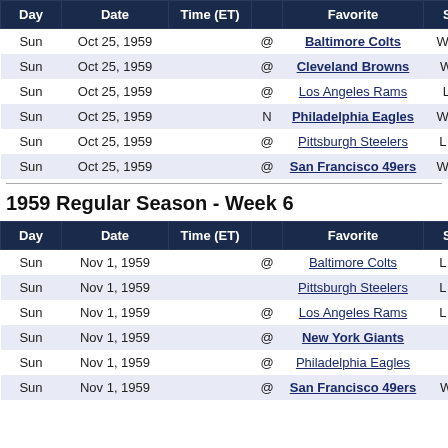| Day | Date | Time (ET) |  | Favorite | Score | Sp |
| --- | --- | --- | --- | --- | --- | --- |
| Sun | Oct 25, 1959 |  | @ | Baltimore Colts | W 38-21 | W |
| Sun | Oct 25, 1959 |  | @ | Cleveland Browns | W 34-7 | W |
| Sun | Oct 25, 1959 |  | @ | Los Angeles Rams | L 7-17 | L |
| Sun | Oct 25, 1959 |  | N | Philadelphia Eagles | W 28-24 | W |
| Sun | Oct 25, 1959 |  | @ | Pittsburgh Steelers | L 16-21 | L |
| Sun | Oct 25, 1959 |  | @ | San Francisco 49ers | W 20-17 | W |
1959 Regular Season - Week 6
| Day | Date | Time (ET) |  | Favorite | Score | Sp |
| --- | --- | --- | --- | --- | --- | --- |
| Sun | Nov 1, 1959 |  | @ | Baltimore Colts | L 31-38 | L - |
| Sun | Nov 1, 1959 |  |  | Pittsburgh Steelers | L 24-45 | L - |
| Sun | Nov 1, 1959 |  | @ | Los Angeles Rams | L 21-26 | L - |
| Sun | Nov 1, 1959 |  | @ | New York Giants | W |  |
| Sun | Nov 1, 1959 |  | @ | Philadelphia Eagles | W |  |
| Sun | Nov 1, 1959 |  | @ | San Francisco 49ers | W 33-7 | W |